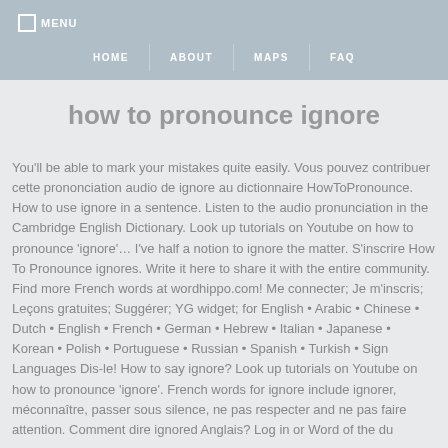MENU | HOME | ABOUT | MAPS | FAQ
how to pronounce ignore
You'll be able to mark your mistakes quite easily. Vous pouvez contribuer cette prononciation audio de ignore au dictionnaire HowToPronounce. How to use ignore in a sentence. Listen to the audio pronunciation in the Cambridge English Dictionary. Look up tutorials on Youtube on how to pronounce 'ignore'... I've half a notion to ignore the matter. S'inscrire How To Pronounce ignores. Write it here to share it with the entire community. Find more French words at wordhippo.com! Me connecter; Je m'inscris; Leçons gratuites; Suggérer; YG widget; for English • Arabic • Chinese • Dutch • English • French • German • Hebrew • Italian • Japanese • Korean • Polish • Portuguese • Russian • Spanish • Turkish • Sign Languages Dis-le! How to say ignore? Look up tutorials on Youtube on how to pronounce 'ignore'. French words for ignore include ignorer, méconnaître, passer sous silence, ne pas respecter and ne pas faire attention. Comment dire ignored Anglais? Log in or Word of the du